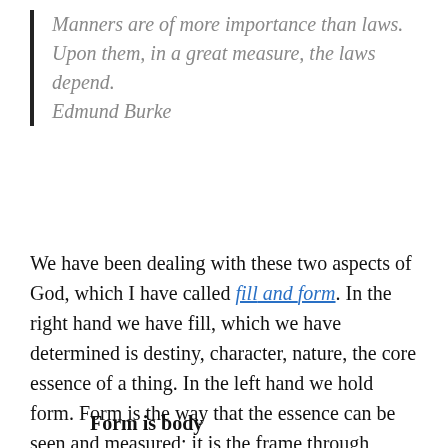Manners are of more importance than laws. Upon them, in a great measure, the laws depend. Edmund Burke
We have been dealing with these two aspects of God, which I have called fill and form. In the right hand we have fill, which we have determined is destiny, character, nature, the core essence of a thing. In the left hand we hold form. Form is the way that the essence can be seen and measured; it is the frame through which interaction can be had. Let me now state that:
Form is body